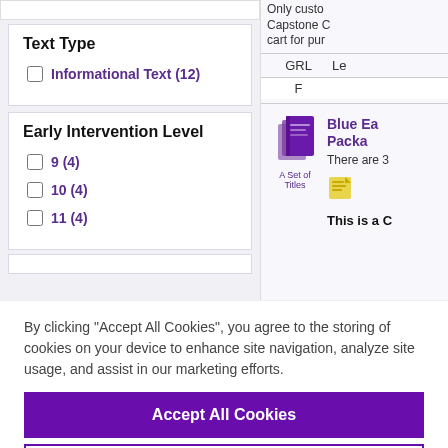Text Type
Informational Text (12)
Early Intervention Level
9 (4)
10 (4)
11 (4)
GRL   Le
F
Blue Ea... Packa...
A Set of Titles
There are 3
This is a C…
By clicking “Accept All Cookies”, you agree to the storing of cookies on your device to enhance site navigation, analyze site usage, and assist in our marketing efforts.
Accept All Cookies
Cookies Settings